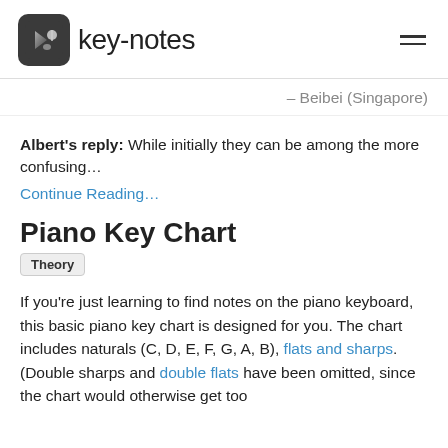key-notes
– Beibei (Singapore)
Albert's reply: While initially they can be among the more confusing…
Continue Reading…
Piano Key Chart
Theory
If you're just learning to find notes on the piano keyboard, this basic piano key chart is designed for you. The chart includes naturals (C, D, E, F, G, A, B), flats and sharps. (Double sharps and double flats have been omitted, since the chart would otherwise get too